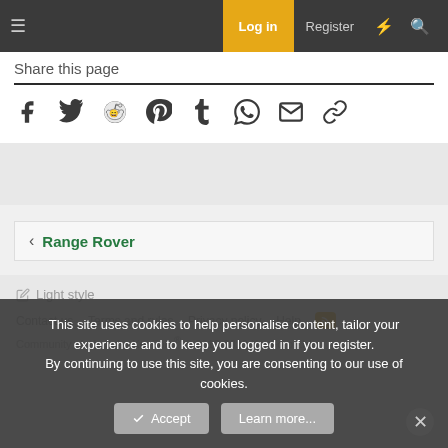Log in  Register
Share this page
[Figure (infographic): Social share icons: Facebook, Twitter, Reddit, Pinterest, Tumblr, WhatsApp, Email, Link]
< Range Rover
Light style
Contact us  Terms and rules  Privacy policy  Help  [RSS]  Community platform by XenForo® © 2010-2022 XenForo Ltd.
This site uses cookies to help personalise content, tailor your experience and to keep you logged in if you register.
By continuing to use this site, you are consenting to our use of cookies.
Accept  Learn more...